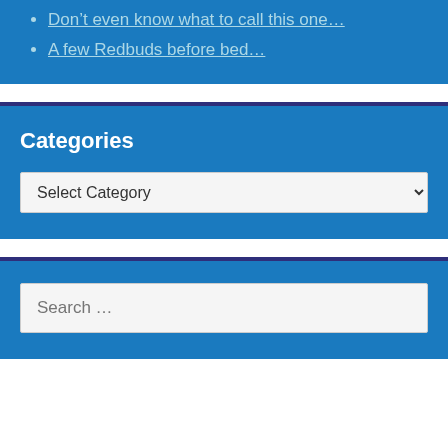Don't even know what to call this one…
A few Redbuds before bed…
Categories
Select Category
Search …